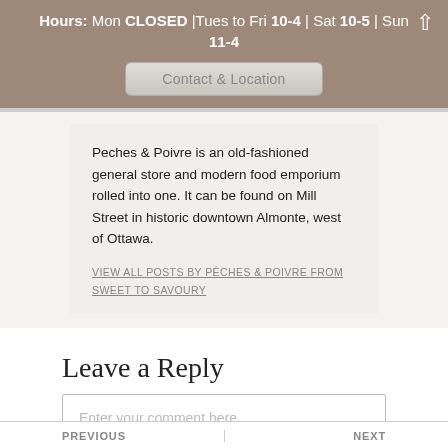Hours: Mon CLOSED | Tues to Fri 10-4 | Sat 10-5 | Sun 11-4
Contact & Location
Peches & Poivre is an old-fashioned general store and modern food emporium rolled into one. It can be found on Mill Street in historic downtown Almonte, west of Ottawa.
VIEW ALL POSTS BY PÊCHES & POIVRE FROM SWEET TO SAVOURY
Leave a Reply
Enter your comment here...
PREVIOUS | NEXT